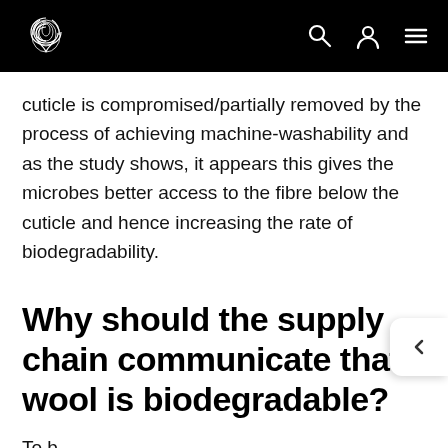[Logo and navigation icons: search, user, menu]
cuticle is compromised/partially removed by the process of achieving machine-washability and as the study shows, it appears this gives the microbes better access to the fibre below the cuticle and hence increasing the rate of biodegradability.
Why should the supply chain communicate that wool is biodegradable?
To be cont...